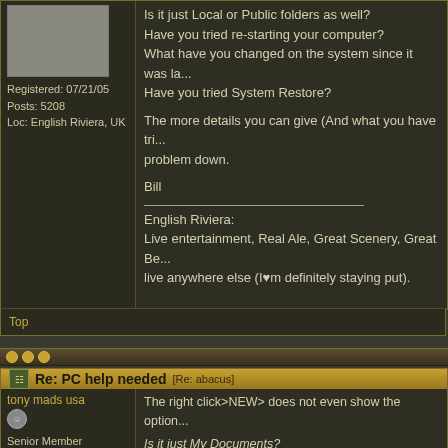Registered: 07/21/05
Posts: 5208
Loc: English Riviera, UK
Is it just Local or Public folders as well?
Have you tried re-starting your computer?
What have you changed on the system since it was la...
Have you tried System Restore?

The more details you can give (And what you have tri... problem down.

Bill

________________
English Riviera:
Live entertainment, Real Ale, Great Scenery, Great Be... live anywhere else (I♥m definitely staying put).
Top
Re: PC help needed [Re: abacus]
tony mads usa
Senior Member
The right click>NEW> does not even show the option...

Is it just My Documents?
What technique do you use to create a new folder?
Are you sure it is not being created further down the li...
Is it just Local or Public folders as well?
Have you tried re-starting your computer?